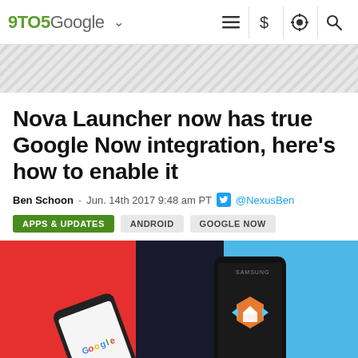9TO5Google
Nova Launcher now has true Google Now integration, here's how to enable it
Ben Schoon - Jun. 14th 2017 9:48 am PT @NexusBen
APPS & UPDATES
ANDROID
GOOGLE NOW
[Figure (photo): Two Samsung phones on a red and blue background. Left phone shows the Google homepage. Right phone shows the Nova Launcher icon (orange hexagon with a house icon and blue arrows).]